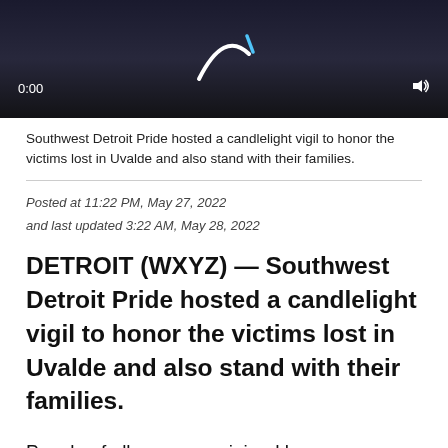[Figure (screenshot): Dark video player thumbnail showing a loading spinner arc, timestamp 0:00 at bottom left and volume icon at bottom right, on a dark background with crowd silhouette visible]
Southwest Detroit Pride hosted a candlelight vigil to honor the victims lost in Uvalde and also stand with their families.
Posted at 11:22 PM, May 27, 2022
and last updated 3:22 AM, May 28, 2022
DETROIT (WXYZ) — Southwest Detroit Pride hosted a candlelight vigil to honor the victims lost in Uvalde and also stand with their families.
People of all ages were joined by congresswomen Debbie Dingell and Rashida Tlaib outside Neinas Dual